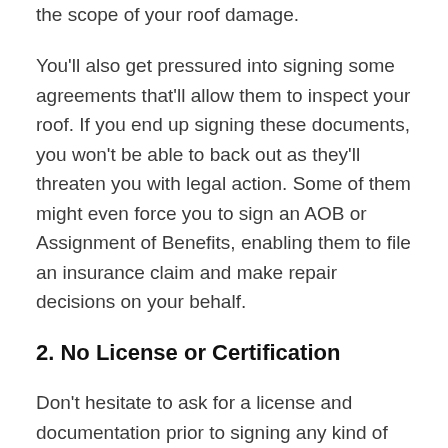the scope of your roof damage.
You'll also get pressured into signing some agreements that'll allow them to inspect your roof. If you end up signing these documents, you won't be able to back out as they'll threaten you with legal action. Some of them might even force you to sign an AOB or Assignment of Benefits, enabling them to file an insurance claim and make repair decisions on your behalf.
2. No License or Certification
Don't hesitate to ask for a license and documentation prior to signing any kind of contract even if they claim to represent your insurance